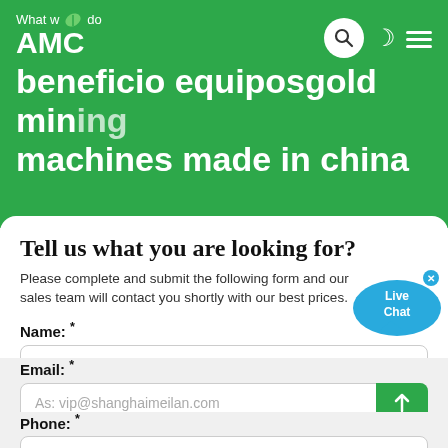What we do
AMC
beneficio equiposgold mining machines made in china
Tell us what you are looking for?
Please complete and submit the following form and our sales team will contact you shortly with our best prices.
Name: *
As: Tom
Email: *
As: vip@shanghaimeilan.com
Phone: *
With Country Code